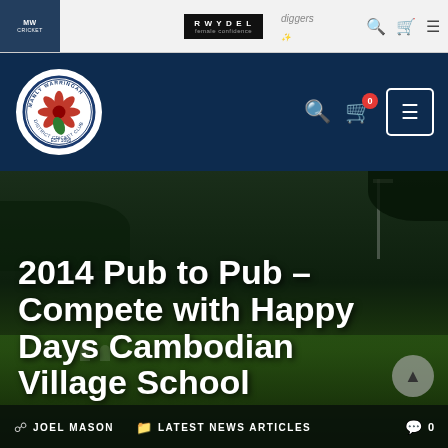RWYDEL | diggers — sponsor bar with navigation icons
[Figure (logo): Manly Warringah District Cricket Club circular logo with red protea flower and green leaf]
2014 Pub to Pub – Compete with Happy Days Cambodian Village School
JOEL MASON   LATEST NEWS ARTICLES   0